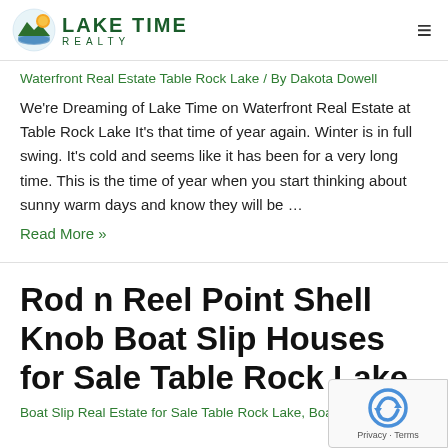Lake Time Realty
Waterfront Real Estate Table Rock Lake / By Dakota Dowell
We're Dreaming of Lake Time on Waterfront Real Estate at Table Rock Lake It's that time of year again. Winter is in full swing. It's cold and seems like it has been for a very long time. This is the time of year when you start thinking about sunny warm days and know they will be …
Read More »
Rod n Reel Point Shell Knob Boat Slip Houses for Sale Table Rock Lake
Boat Slip Real Estate for Sale Table Rock Lake, Boatslin Home For